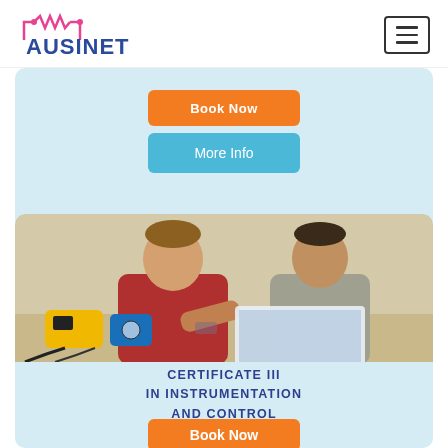[Figure (logo): AUSINET logo with circuit/resistor graphic above the text]
[Figure (other): Hamburger menu button (three horizontal lines) in a square border]
Book Now
More Info
[Figure (photo): Two men in a workshop/lab setting looking at a laptop, with yellow and blue measuring instruments on a table in front of them.]
CERTIFICATE III IN INSTRUMENTATION AND CONTROL
Book Now